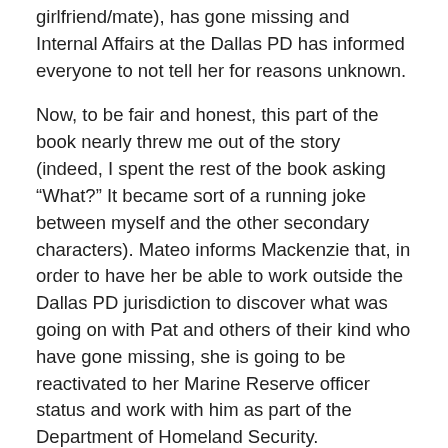girlfriend/mate), has gone missing and Internal Affairs at the Dallas PD has informed everyone to not tell her for reasons unknown.
Now, to be fair and honest, this part of the book nearly threw me out of the story (indeed, I spent the rest of the book asking “What?” It became sort of a running joke between myself and the other secondary characters). Mateo informs Mackenzie that, in order to have her be able to work outside the Dallas PD jurisdiction to discover what was going on with Pat and others of their kind who have gone missing, she is going to be reactivated to her Marine Reserve officer status and work with him as part of the Department of Homeland Security.
Nothing, and I do mean nothing, in the books leading up to this point even remotely suggested that Mackenzie was a